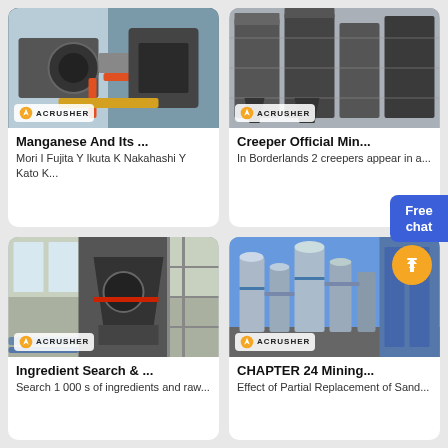[Figure (photo): Industrial machinery with pipes and motor, Acrusher watermark]
Manganese And Its ...
Mori I Fujita Y Ikuta K Nakahashi Y Kato K...
[Figure (photo): Large industrial mining/crushing machines in a factory, Acrusher watermark]
Creeper Official Min...
In Borderlands 2 creepers appear in a...
[Figure (photo): Cone crusher machine in industrial facility, Acrusher watermark]
Ingredient Search & ...
Search 1 000 s of ingredients and raw...
[Figure (photo): Industrial silos and processing towers against blue sky, Acrusher watermark]
CHAPTER 24 Mining...
Effect of Partial Replacement of Sand...